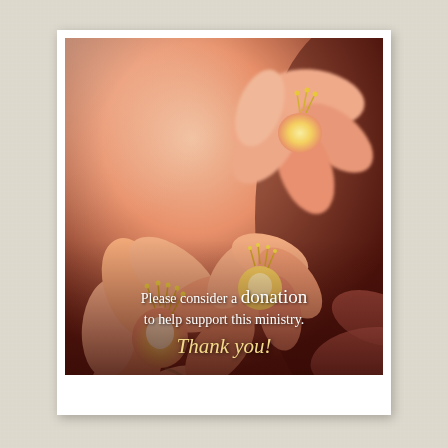[Figure (photo): Close-up photo of salmon/coral-colored lily flowers (Clivia) with yellow stamens, soft focus, warm tones. Text overlay reads: 'Please consider a donation to help support this ministry. Thank you!']